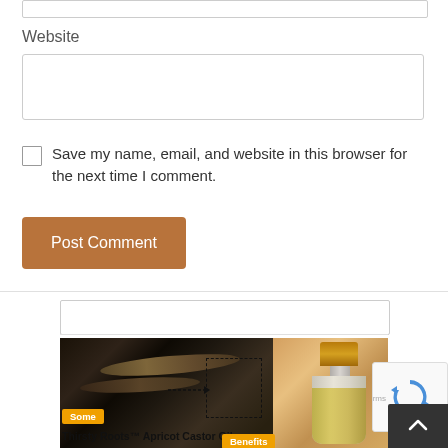Website
Save my name, email, and website in this browser for the next time I comment.
Post Comment
[Figure (photo): Blog post thumbnail showing a person's hair with a dashed annotation rectangle and an arrow, alongside an oil bottle with a gold cap. Text overlay reads 'Some' in an orange badge and 'Thirsty Roots™ Apricot Castor Oil' as title, with a partially visible 'Benefits' badge.]